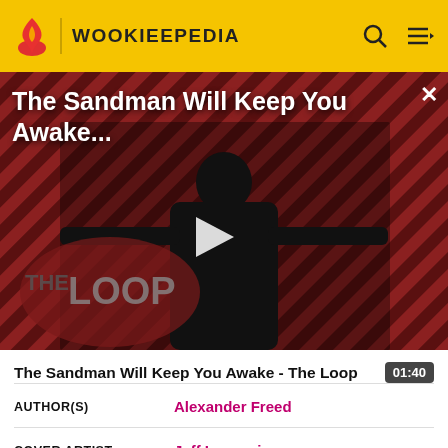WOOKIEEPEDIA
[Figure (screenshot): Video thumbnail showing a person in dark clothing with a crow/raven, against a diagonal striped background. 'THE LOOP' text visible in lower left. Play button overlay in center. Title 'The Sandman Will Keep You Awake...' shown at top of video.]
The Sandman Will Keep You Awake - The Loop
01:40
AUTHOR(S)	Alexander Freed
COVER ARTIST	Jeff Langevin